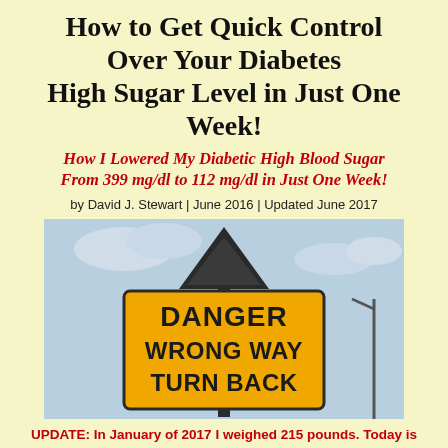How to Get Quick Control Over Your Diabetes High Sugar Level in Just One Week!
How I Lowered My Diabetic High Blood Sugar From 399 mg/dl to 112 mg/dl in Just One Week!
by David J. Stewart | June 2016 | Updated June 2017
[Figure (photo): A yellow 'DANGER WRONG WAY TURN BACK' warning road sign against a cloudy sky background, with a dark triangular sign above it.]
UPDATE: In January of 2017 I weighed 215 pounds. Today is